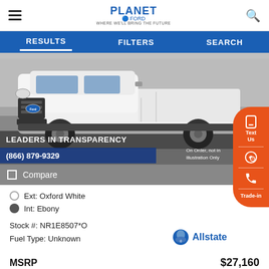Planet Ford — RESULTS | FILTERS | SEARCH
[Figure (photo): White Ford Ranger pickup truck parked in a lot. Overlay text: LEADERS IN TRANSPARENCY, (866) 879-9329, On Order, not in Illustration Only]
Compare
Ext: Oxford White
Int: Ebony
Stock #: NR1E8507*O
Fuel Type: Unknown
MSRP   $27,160